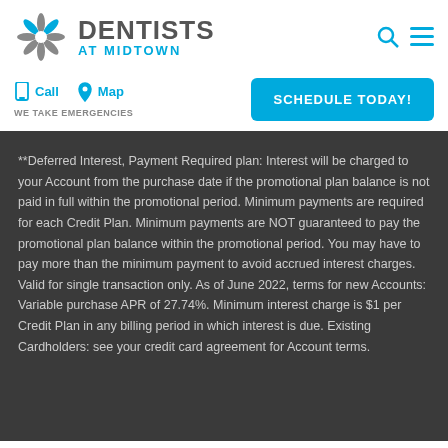[Figure (logo): Dentists at Midtown logo with starburst icon, search and menu icons in header]
Call   Map   SCHEDULE TODAY!   WE TAKE EMERGENCIES
**Deferred Interest, Payment Required plan: Interest will be charged to your Account from the purchase date if the promotional plan balance is not paid in full within the promotional period. Minimum payments are required for each Credit Plan. Minimum payments are NOT guaranteed to pay the promotional plan balance within the promotional period. You may have to pay more than the minimum payment to avoid accrued interest charges. Valid for single transaction only. As of June 2022, terms for new Accounts: Variable purchase APR of 27.74%. Minimum interest charge is $1 per Credit Plan in any billing period in which interest is due. Existing Cardholders: see your credit card agreement for Account terms.